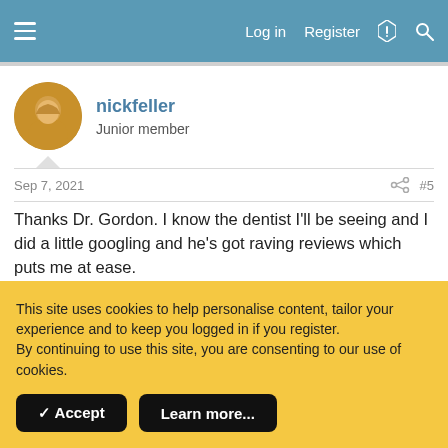Log in  Register
nickfeller
Junior member
Sep 7, 2021  #5
Thanks Dr. Gordon. I know the dentist I'll be seeing and I did a little googling and he's got raving reviews which puts me at ease.

I know you'd need x-rays and better photos but is there anything you see in the ones I posted that is alarming? Do you
This site uses cookies to help personalise content, tailor your experience and to keep you logged in if you register.
By continuing to use this site, you are consenting to our use of cookies.